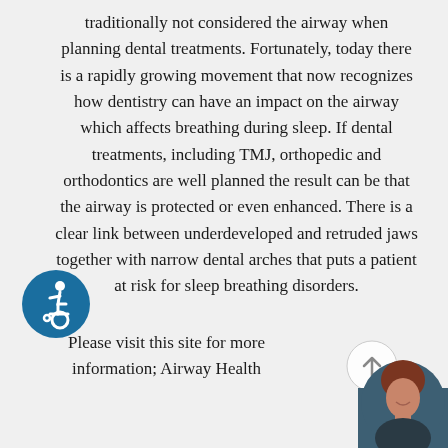traditionally not considered the airway when planning dental treatments. Fortunately, today there is a rapidly growing movement that now recognizes how dentistry can have an impact on the airway which affects breathing during sleep. If dental treatments, including TMJ, orthopedic and orthodontics are well planned the result can be that the airway is protected or even enhanced. There is a clear link between underdeveloped and retruded jaws together with narrow dental arches that puts a patient at risk for sleep breathing disorders.
[Figure (illustration): Accessibility icon - circular blue badge with white wheelchair user symbol]
Please visit this site for more information; Airway Health
[Figure (illustration): Scroll-to-top button - light gray circle with upward arrow]
[Figure (photo): Circular avatar photo of a woman with reddish-brown hair, smiling, in bottom-right corner]